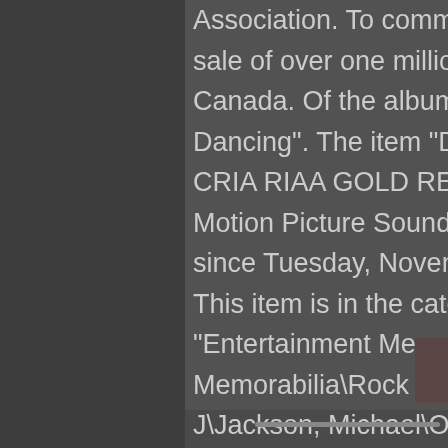Association. To commemorate the sale of over one million copies in Canada. Of the album "Dirty Dancing". The item "Dirty Dancing CRIA RIAA GOLD RECORD AWARD, Motion Picture Soundtrack" is in sale since Tuesday, November 27, 2018. This item is in the category "Entertainment Memorabilia\Music Memorabilia\Rock & Pop\Artists J\Jackson, Michael\Other Michael Jackson ...
Read More »